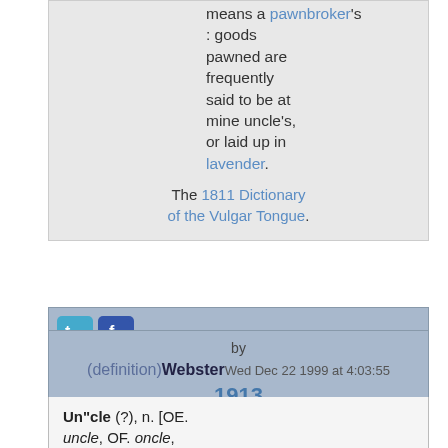means a pawnbroker's : goods pawned are frequently said to be at mine uncle's, or laid up in lavender.
The 1811 Dictionary of the Vulgar Tongue.
[Figure (infographic): Social sharing icons: Twitter, Facebook, Delicious, Digg with 'I like it!' text, StumbleUpon, Reddit]
by (definition)Webster 1913 Wed Dec 22 1999 at 4:03:55
Un"cle (?), n. [OE. uncle, OF. oncle, uncle, F. oncle, fr. L.